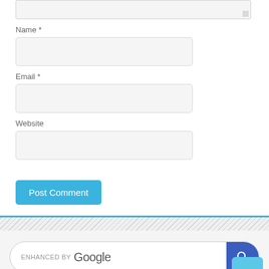[Figure (screenshot): Partial textarea input box at top of page with resize handle]
Name *
[Figure (screenshot): Name text input field]
Email *
[Figure (screenshot): Email text input field]
Website
[Figure (screenshot): Website text input field]
[Figure (screenshot): Post Comment button in blue]
[Figure (screenshot): Hatched divider section]
[Figure (screenshot): Enhanced by Google search bar with blue search button]
[Figure (screenshot): Back to top button (light blue, arrow up)]